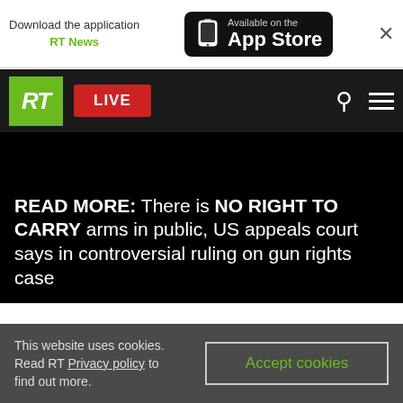Download the application RT News | Available on the App Store | ×
[Figure (screenshot): RT news website navigation bar with green RT logo, red LIVE button, search icon, and hamburger menu on dark background]
READ MORE: There is NO RIGHT TO CARRY arms in public, US appeals court says in controversial ruling on gun rights case
The firearm organization regularly gets death threats and abuse on social media, but are determined to stick to their cause.
This website uses cookies. Read RT Privacy policy to find out more. Accept cookies